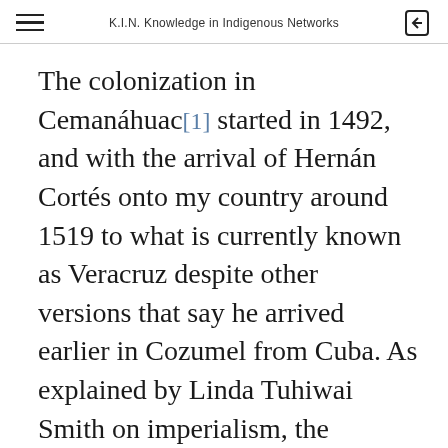K.I.N. Knowledge in Indigenous Networks
The colonization in Cemanáhuac[1] started in 1492, and with the arrival of Hernán Cortés onto my country around 1519 to what is currently known as Veracruz despite other versions that say he arrived earlier in Cozumel from Cuba. As explained by Linda Tuhiwai Smith on imperialism, the subjugation and systematic eradication of Indigenous people has evolved, taking different forms through time, according to the situation and ideology of each period since the establishment of the colonial project.